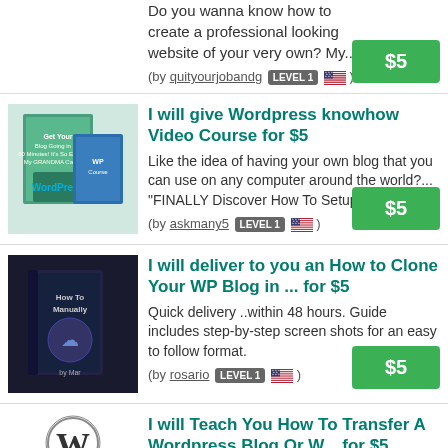Do you wanna know how to create a professional looking website of your very own? My...
(by quityourjobandg LEVEL 1 [flag])
I will give Wordpress knowhow Video Course for $5
Like the idea of having your own blog that you can use on any computer around the world?... "FINALLY Discover How To Setup Your...
(by askmany5 LEVEL 1 [flag])
I will deliver to you an How to Clone Your WP Blog in ... for $5
Quick delivery ..within 48 hours. Guide includes step-by-step screen shots for an easy to follow format.
(by rosario LEVEL 1 [flag])
I will Teach You How To Transfer A Wordpress Blog Or W... for $5